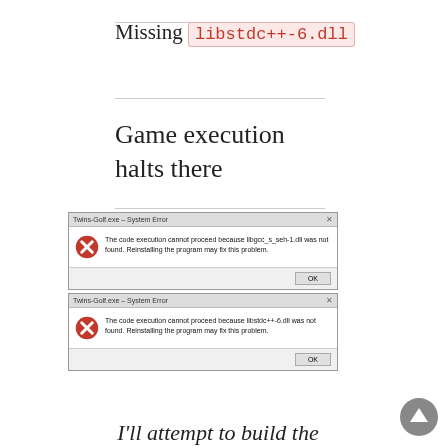Missing libstdc++-6.dll
Game execution halts there
[Figure (screenshot): Two Windows System Error dialog boxes for Twins-Golf.exe. First: 'The code execution cannot proceed because libgcc_s_seh-1.dll was not found. Reinstalling the program may fix this problem.' with OK button. Second: 'The code execution cannot proceed because libstdc++-6.dll was not found. Reinstalling the program may fix this problem.' with OK button.]
I'll attempt to build the